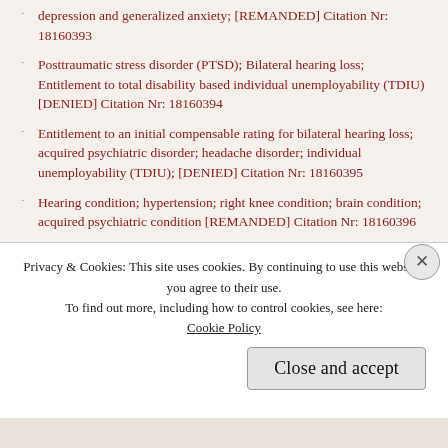depression and generalized anxiety; [REMANDED] Citation Nr: 18160393
Posttraumatic stress disorder (PTSD); Bilateral hearing loss; Entitlement to total disability based individual unemployability (TDIU) [DENIED] Citation Nr: 18160394
Entitlement to an initial compensable rating for bilateral hearing loss; acquired psychiatric disorder; headache disorder; individual unemployability (TDIU); [DENIED] Citation Nr: 18160395
Hearing condition; hypertension; right knee condition; brain condition; acquired psychiatric condition [REMANDED] Citation Nr: 18160396
Entitlement to service connection for the cause of the Veteran's death [REMANDED] Citation Nr: 18160397
Privacy & Cookies: This site uses cookies. By continuing to use this website, you agree to their use.
To find out more, including how to control cookies, see here: Cookie Policy
Close and accept